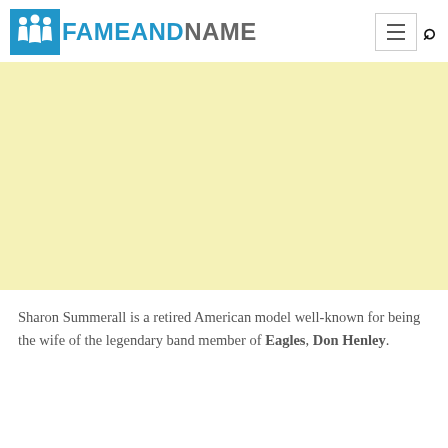FAMEANDNAME
[Figure (other): Yellow/cream colored advertisement placeholder banner]
Sharon Summerall is a retired American model well-known for being the wife of the legendary band member of Eagles, Don Henley.